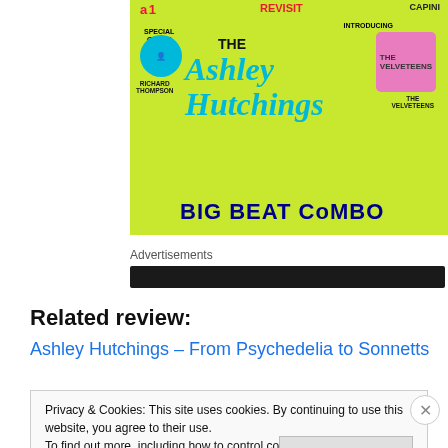[Figure (illustration): Promotional poster for The Ashley Hutchings Big Beat Combo, yellow background, with text: Special Guest Richard Thompson, Introducing The Velveteens, Big Beat Combo]
Advertisements
Related review:
Ashley Hutchings – From Psychedelia to Sonnetts
Privacy & Cookies: This site uses cookies. By continuing to use this website, you agree to their use.
To find out more, including how to control cookies, see here: Cookie Policy